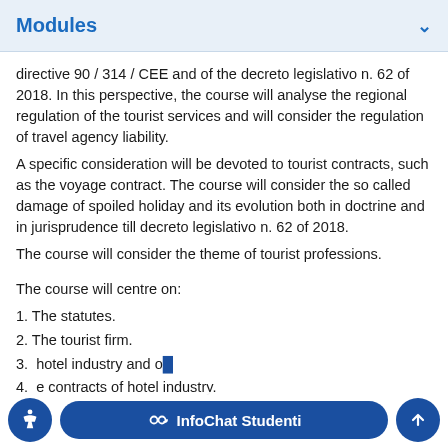Modules
directive 90 / 314 / CEE and of the decreto legislativo n. 62 of 2018. In this perspective, the course will analyse the regional regulation of the tourist services and will consider the regulation of travel agency liability.
A specific consideration will be devoted to tourist contracts, such as the voyage contract. The course will consider the so called damage of spoiled holiday and its evolution both in doctrine and in jurisprudence till decreto legislativo n. 62 of 2018.
The course will consider the theme of tourist professions.
The course will centre on:
1. The statutes.
2. The tourist firm.
3. [hotel industry and o...]
4. [The contracts of hotel industry.]